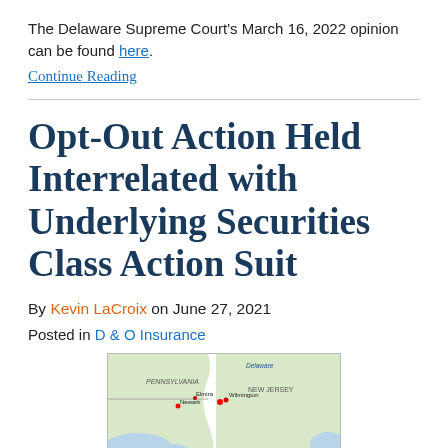The Delaware Supreme Court's March 16, 2022 opinion can be found here.
Continue Reading
Opt-Out Action Held Interrelated with Underlying Securities Class Action Suit
By Kevin LaCroix on June 27, 2021
Posted in D & O Insurance
[Figure (map): Map showing the Delaware/Pennsylvania/New Jersey region with labeled cities including Wilmington, Newark, Elmira, and a Delaware River boundary visible.]